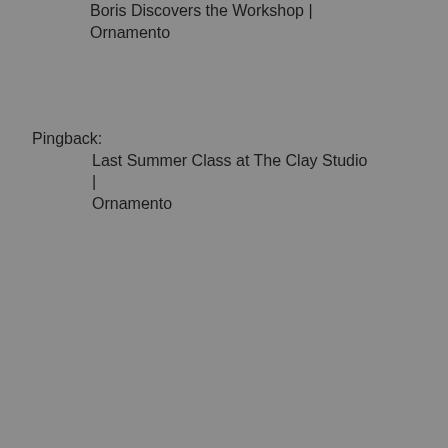Boris Discovers the Workshop | Ornamento
Pingback:
Last Summer Class at The Clay Studio | Ornamento